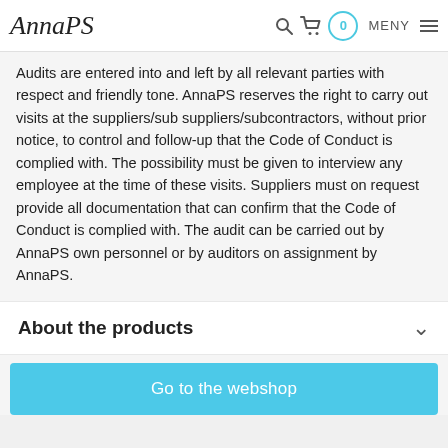AnnaPS — MENY 0
Audits are entered into and left by all relevant parties with respect and friendly tone. AnnaPS reserves the right to carry out visits at the suppliers/sub suppliers/subcontractors, without prior notice, to control and follow-up that the Code of Conduct is complied with. The possibility must be given to interview any employee at the time of these visits. Suppliers must on request provide all documentation that can confirm that the Code of Conduct is complied with. The audit can be carried out by AnnaPS own personnel or by auditors on assignment by AnnaPS.
About the products
Go to the webshop